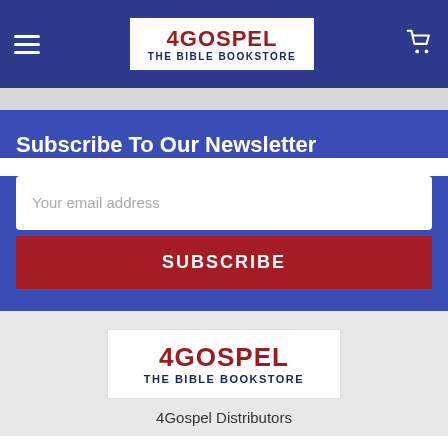4GOSPEL THE BIBLE BOOKSTORE — navigation header with hamburger menu and cart icon
Subscribe To Our Newsletter
Your email address
SUBSCRIBE
[Figure (logo): 4GOSPEL THE BIBLE BOOKSTORE logo in footer]
4Gospel Distributors